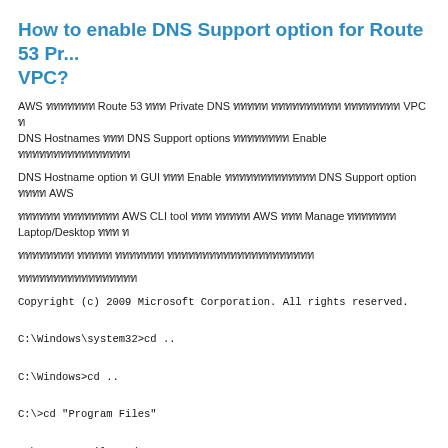How to enable DNS Support option for Route 53 Private VPC?
AWS ททททททท Route 53 ททท Private DNS ททททท ทททททททททททท ทททททททท VPC ท DNS Hostnames ททท DNS Support options ทททททททท Enable ทททททททททททททททททท
DNS Hostname option ท GUI ททท Enable ทททททททททททท DNS Support option ทททท AWS
ทททททท ทททททททท AWS CLI tool ทท ททททท AWS ทท Manage ทททททท Laptop/Desktop ทท ท
ทททททททท ทททท ทททททท ทททททททททททท
ทททททททททททททท
Copyright (c) 2009 Microsoft Corporation.  All rights reserved.
C:\Windows\system32>cd ..
C:\Windows>cd ..
C:\>cd "Program Files"
C:\Program Files>cd Amazon
C:\Program Files\Amazon>cd AWSCLI
C:\Program Files\Amazon\AWSCLI>aws configure
AWS Access Key ID [****************AYJ6]: Access Key ID ททททท
AWS Secret Access Key [****************f3]: Access Key ทททททท